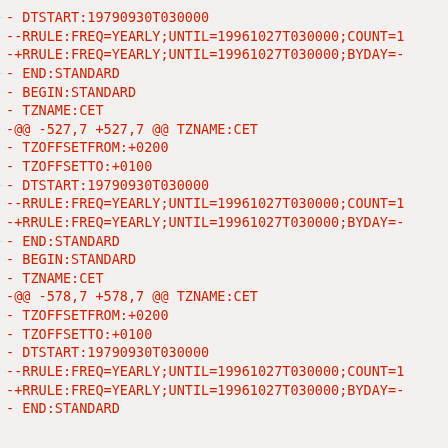- DTSTART:19790930T030000
--RRULE:FREQ=YEARLY;UNTIL=19961027T030000;COUNT=1
-+RRULE:FREQ=YEARLY;UNTIL=19961027T030000;BYDAY=-
- END:STANDARD
- BEGIN:STANDARD
- TZNAME:CET
-@@ -527,7 +527,7 @@ TZNAME:CET
- TZOFFSETFROM:+0200
- TZOFFSETTO:+0100
- DTSTART:19790930T030000
--RRULE:FREQ=YEARLY;UNTIL=19961027T030000;COUNT=1
-+RRULE:FREQ=YEARLY;UNTIL=19961027T030000;BYDAY=-
- END:STANDARD
- BEGIN:STANDARD
- TZNAME:CET
-@@ -578,7 +578,7 @@ TZNAME:CET
- TZOFFSETFROM:+0200
- TZOFFSETTO:+0100
- DTSTART:19790930T030000
--RRULE:FREQ=YEARLY;UNTIL=19961027T030000;COUNT=1
-+RRULE:FREQ=YEARLY;UNTIL=19961027T030000;BYDAY=-
- END:STANDARD